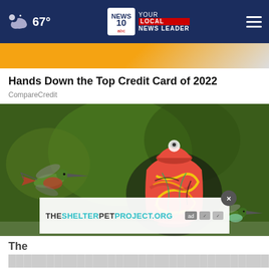67° — NEWS 10 abc YOUR LOCAL NEWS LEADER
[Figure (photo): Top ad image strip with orange/yellow background showing partial figure]
Hands Down the Top Credit Card of 2022
CompareCredit
[Figure (photo): Hummingbird feeder — a red decorative glass globe feeder shaped like a vase with colorful swirling patterns (red, yellow, green, black), with one hummingbird visible on the left flying toward it and another visible on the lower right]
THESHELTERPETPROJECT.ORG
The ... to My Neighbor's Garden